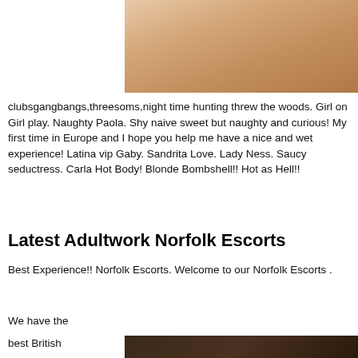[Figure (photo): Close-up skin tone photo, beige/tan tones]
clubsgangbangs,threesoms,night time hunting threw the woods. Girl on Girl play. Naughty Paola. Shy naive sweet but naughty and curious! My first time in Europe and I hope you help me have a nice and wet experience! Latina vip Gaby. Sandrita Love. Lady Ness. Saucy seductress. Carla Hot Body! Blonde Bombshell!! Hot as Hell!!
Latest Adultwork Norfolk Escorts
Best Experience!! Norfolk Escorts. Welcome to our Norfolk Escorts .
We have the
best British
[Figure (photo): Dark toned photo, partial view at bottom right]